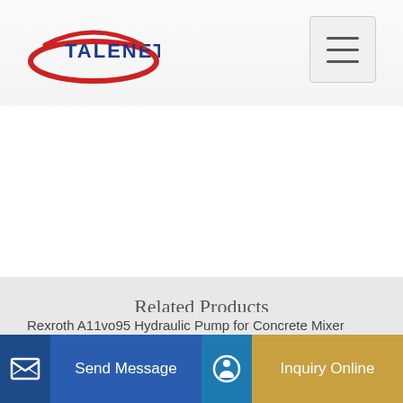[Figure (logo): TALENET company logo with red ellipse and blue text]
Related Products
Squeeze Mortar Cement Grout Injection Pump Price
Source sand stone cement mortar concrete pump for injection building
Rexroth A11vo95 Hydraulic Pump for Concrete Mixer
Send Message
Inquiry Online